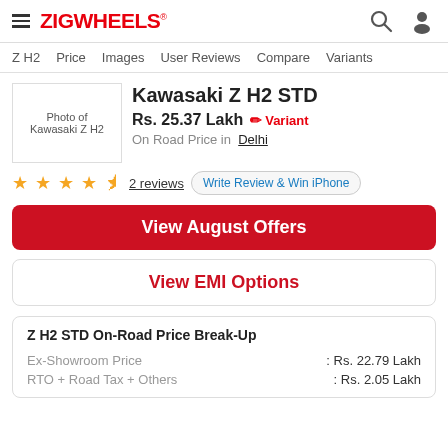ZIGWHEELS
Z H2 | Price | Images | User Reviews | Compare | Variants
[Figure (photo): Photo of Kawasaki Z H2 motorcycle]
Kawasaki Z H2 STD
Rs. 25.37 Lakh   Variant
On Road Price in Delhi
★★★★½  2 reviews   Write Review & Win iPhone
View August Offers
View EMI Options
Z H2 STD On-Road Price Break-Up
|  |  |
| --- | --- |
| Ex-Showroom Price | : Rs. 22.79 Lakh |
| RTO + Road Tax + Others | : Rs. 2.05 Lakh |